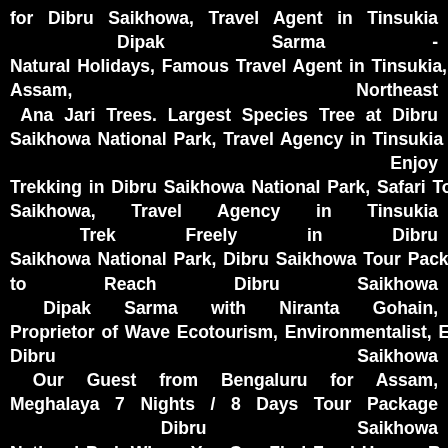for Dibru Saikhowa, Travel Agent in Tinsukia  Dipak Sarma - Natural Holidays, Famous Travel Agent in Tinsukia, Dibrugarh, Assam, Northeast  Ana Jari Trees. Largest Species Tree at Dibru Saikhowa National Park, Travel Agency in Tinsukia  Enjoy Trekking in Dibru Saikhowa National Park, Safari Tour Dibru Saikhowa, Travel Agency in Tinsukia  Trek Freely in Dibru Saikhowa National Park, Dibru Saikhowa Tour Packages, How to Reach Dibru Saikhowa  Dipak Sarma with Niranta Gohain, Proprietor of Wave Ecotourism, Environmentalist, Eco Tourism Dibru Saikhowa  Our Guest from Bengaluru for Assam, Meghalaya 7 Nights / 8 Days Tour Package  Dibru Saikhowa National Park Where You Can Find Feral Horses Roaming Freely  Dibru Saikhowa National Park Famous For Feral Horses, Travel Agent in Tinsukia, Assam  Niranta Gohain, Proprietor Wave ECO Tourism at Dibru Saikhowa, Environmentalist, Wildlife Photographer  Dhola Sadia Bridge - India's longest bridge on the Brahmaputra river in Assam, Travel Agent in Tinsukia  Dr Bhupen Hazarika Setu - 9.15 Km Long, Connection Between Northern Assam & Eastern Arunachal Pradesh  Our Guest from Ahmedabad for Kaziranga, Guwahati 3 Nights / 4 Days Tour, Travel Agent in Kaziranga  Our Guest at Shillong Golf Course, Best Travel Agent in Shillong, Shillong Travel Packages  Our Guest at Umiam Lake, Travel Agent in Shillong, Shillong Tour